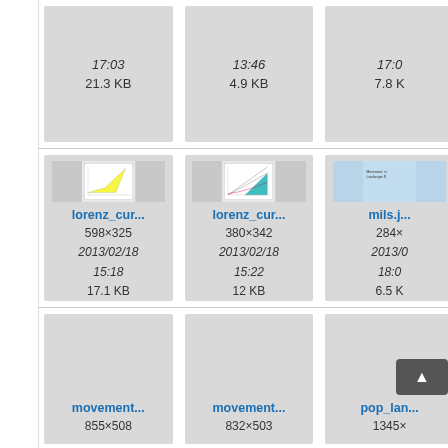[Figure (screenshot): File browser grid view showing image thumbnails. Top partial row: three cells with metadata (17:03, 21.3 KB), (13:46, 4.9 KB), (17:0, 7.8 K). Middle row: lorenz_cur... 598x325 2013/02/18 15:18 17.1 KB with yellow polygon chart thumbnail; lorenz_cur... 380x342 2013/02/18 15:22 12 KB with teal triangle chart thumbnail; mils.j... 284x 2013/0 18:0 6.5 K with blue thumbnail. Bottom row: movement... 855x508; movement... 832x503; pop_lan... 1345x with scroll-to-top button.]